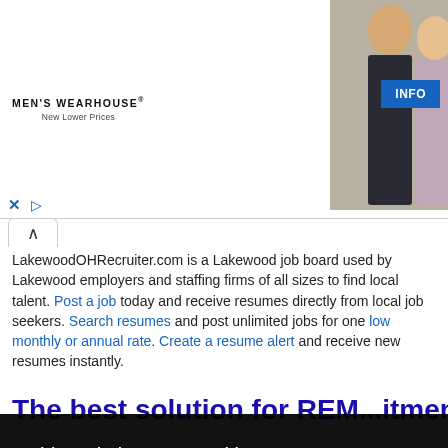[Figure (screenshot): Men's Wearhouse advertisement banner showing a couple in formal wedding attire and a man in a gray suit, with an INFO button on the right side]
LakewoodOHRecruiter.com is a Lakewood job board used by Lakewood employers and staffing firms of all sizes to find local talent. Post a job today and receive resumes directly from local job seekers. Search resumes and post unlimited jobs for one low monthly or annual rate. Create a resume alert and receive new resumes instantly.
The best solution for REM...itment
This website uses cookies to ensure you get the best experience on our website.
Learn more
Got it!
atures tha...ts to
1 with .com,